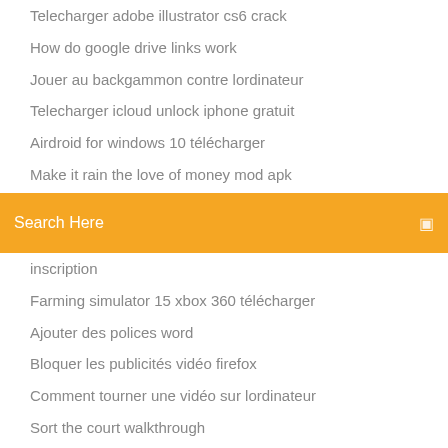Telecharger adobe illustrator cs6 crack
How do google drive links work
Jouer au backgammon contre lordinateur
Telecharger icloud unlock iphone gratuit
Airdroid for windows 10 télécharger
Make it rain the love of money mod apk
Dernier mise a jour snapchat android
[Figure (screenshot): Orange search bar with 'Search Here' placeholder text and a search icon on the right]
inscription
Farming simulator 15 xbox 360 télécharger
Ajouter des polices word
Bloquer les publicités vidéo firefox
Comment tourner une vidéo sur lordinateur
Sort the court walkthrough
Youtube téléchargerer for mac 10.6
Télécharger sketchup 2020 gratuit mac
Actualiser votre pc sans affecter vos fichiers windows 10
Need for speed most wanted gratuit télécharger utorrent